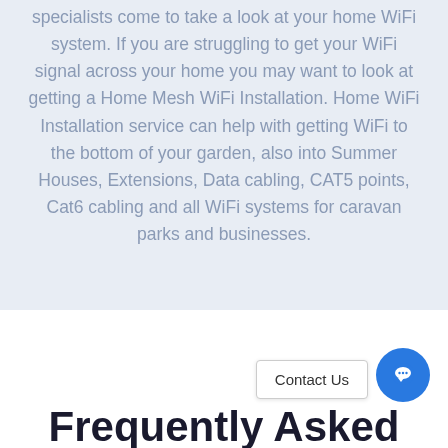specialists come to take a look at your home WiFi system. If you are struggling to get your WiFi signal across your home you may want to look at getting a Home Mesh WiFi Installation. Home WiFi Installation service can help with getting WiFi to the bottom of your garden, also into Summer Houses, Extensions, Data cabling, CAT5 points, Cat6 cabling and all WiFi systems for caravan parks and businesses.
Contact Us
Frequently Asked